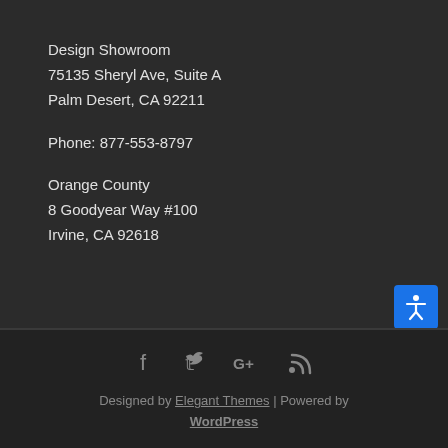Design Showroom
75135 Sheryl Ave, Suite A
Palm Desert, CA 92211
Phone: 877-553-8797
Orange County
8 Goodyear Way #100
Irvine, CA 92618
[Figure (illustration): Accessibility icon button (blue background with white person/accessibility symbol)]
[Figure (illustration): Social media icons: Facebook, Twitter, Google+, RSS feed]
Designed by Elegant Themes | Powered by WordPress